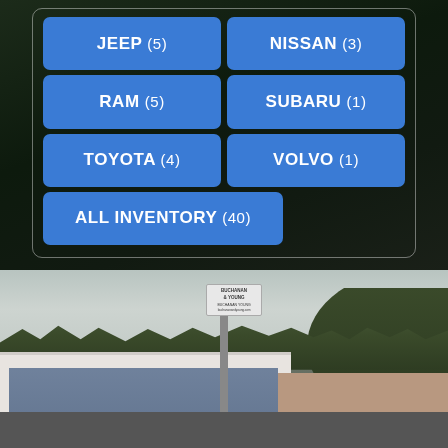JEEP (5)
NISSAN (3)
RAM (5)
SUBARU (1)
TOYOTA (4)
VOLVO (1)
ALL INVENTORY (40)
[Figure (photo): Exterior photo of Buchanan & Young dealership building with signage pole, parking lot with vehicles, trees and hills in background]